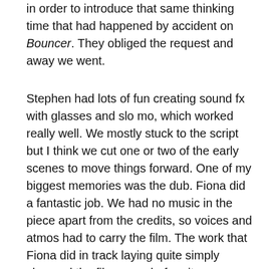in order to introduce that same thinking time that had happened by accident on Bouncer. They obliged the request and away we went.
Stephen had lots of fun creating sound fx with glasses and slo mo, which worked really well. We mostly stuck to the script but I think we cut one or two of the early scenes to move things forward. One of my biggest memories was the dub. Fiona did a fantastic job. We had no music in the piece apart from the credits, so voices and atmos had to carry the film. The work that Fiona did in track laying quite simply changed the film, even before it was mixed, it was brilliant the way she pulled the voices out in particular. It's always hard to tell what you've got when you're editing and got your nose to the screen but I think it was at that point (and the first time I read the script of course) that I realised we had something special.